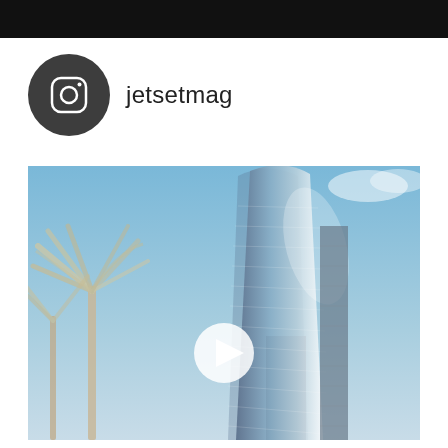[Figure (screenshot): Black top bar, partial Instagram-style header]
[Figure (photo): Instagram profile icon (dark circle with Instagram logo) and username 'jetsetmag']
[Figure (photo): Video thumbnail showing a modern glass skyscraper against a blue sky with palm trees, with a white play button overlay]